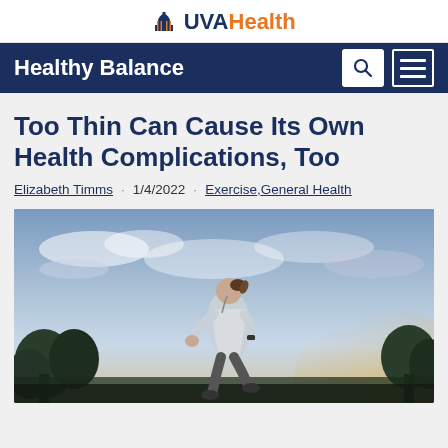UVA Health
Healthy Balance
Too Thin Can Cause Its Own Health Complications, Too
Elizabeth Timms · 1/4/2022 · Exercise, General Health
[Figure (photo): Woman running outdoors in athletic wear, side profile, with trees and a cloudy sky at dusk in the background]